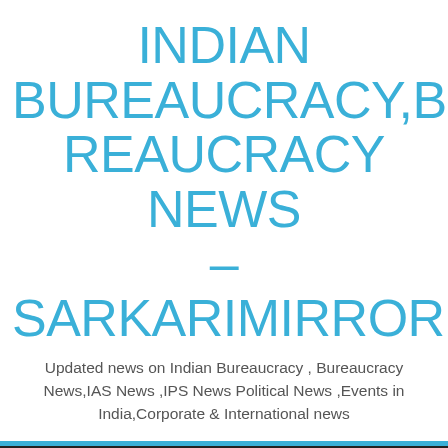INDIAN BUREAUCRACY,BUREAUCRACY NEWS – SARKARIMIRROR
Updated news on Indian Bureaucracy , Bureaucracy News,IAS News ,IPS News Political News ,Events in India,Corporate & International news
[Figure (screenshot): Cyan horizontal bar separator]
[Figure (screenshot): Dark navigation bar with hamburger menu icon (three white horizontal lines)]
world today
[Figure (illustration): Cyan chevron/caret up arrow icon in bottom right]